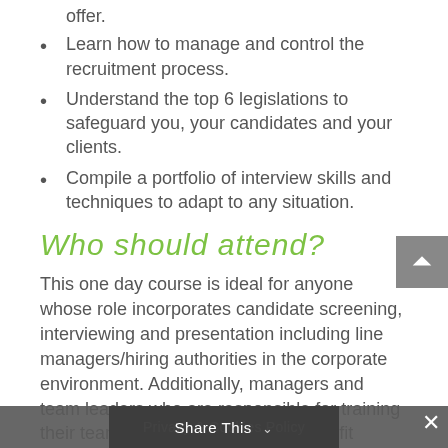offer.
Learn how to manage and control the recruitment process.
Understand the top 6 legislations to safeguard you, your candidates and your clients.
Compile a portfolio of interview skills and techniques to adapt to any situation.
Who should attend?
This one day course is ideal for anyone whose role incorporates candidate screening, interviewing and presentation including line managers/hiring authorities in the corporate environment. Additionally, managers and team leaders who are responsible for training their team in recruitment... huge benefit
Privacy & Cookies Policy   Share This   ×